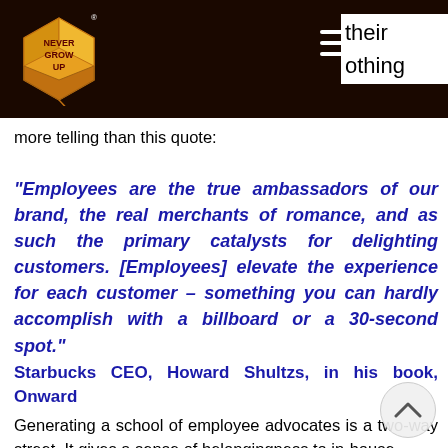their othing more telling than this quote:
more telling than this quote:
“Employees are the true ambassadors of our brand, the real merchants of romance, and as such the primary catalysts for delighting customers. [Employees] elevate the experience for each customer – something you can hardly accomplish with a billboard or a 30-second spot.” Starbucks CEO, Howard Shultzs, in his book, Onward
Generating a school of employee advocates is a two-way street. It gives a sense of belongingness to in-house